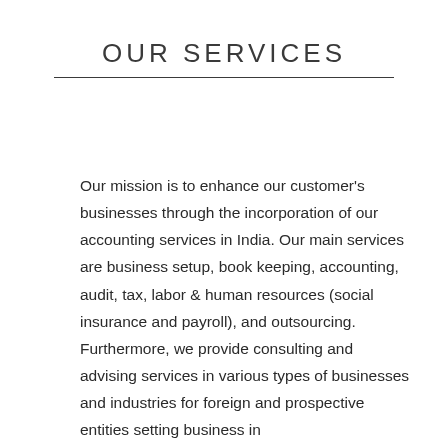OUR SERVICES
Our mission is to enhance our customer's businesses through the incorporation of our accounting services in India. Our main services are business setup, book keeping, accounting, audit, tax, labor & human resources (social insurance and payroll), and outsourcing. Furthermore, we provide consulting and advising services in various types of businesses and industries for foreign and prospective entities setting business in India. Something else will appear here as well.